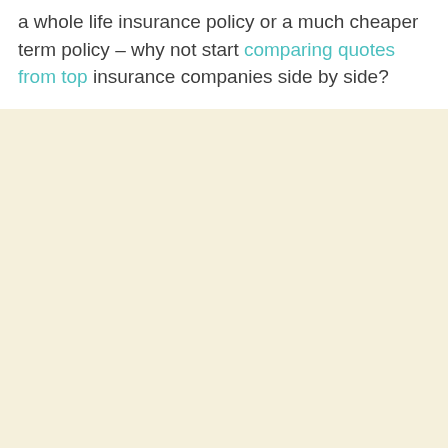a whole life insurance policy or a much cheaper term policy – why not start comparing quotes from top insurance companies side by side?